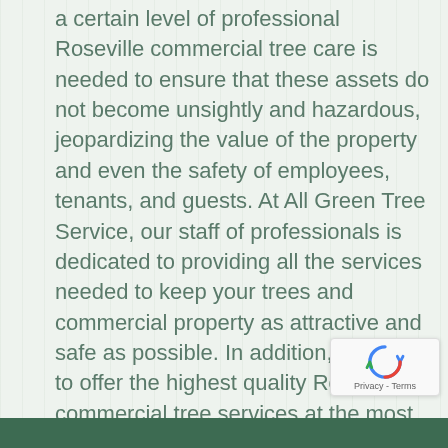a certain level of professional Roseville commercial tree care is needed to ensure that these assets do not become unsightly and hazardous, jeopardizing the value of the property and even the safety of employees, tenants, and guests. At All Green Tree Service, our staff of professionals is dedicated to providing all the services needed to keep your trees and commercial property as attractive and safe as possible. In addition, we strive to offer the highest quality Roseville commercial tree services at the most reasonable prices to help you remain on budget for your exterior services. Call 530-309-1126 to request a free price estimate for any commercial tree service to enhance the appearance and value of your property.
[Figure (logo): reCAPTCHA badge with circular arrow logo and Privacy - Terms text]